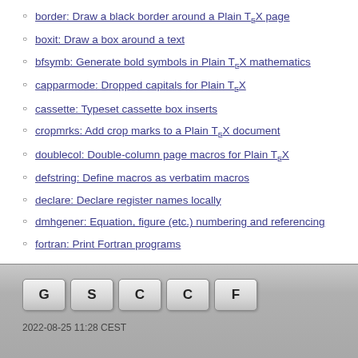border: Draw a black border around a Plain TeX page
boxit: Draw a box around a text
bfsymb: Generate bold symbols in Plain TeX mathematics
capparmode: Dropped capitals for Plain TeX
cassette: Typeset cassette box inserts
cropmrks: Add crop marks to a Plain TeX document
doublecol: Double-column page macros for Plain TeX
defstring: Define macros as verbatim macros
declare: Declare register names locally
dmhgener: Equation, figure (etc.) numbering and referencing
fortran: Print Fortran programs
2022-08-25 11:28 CEST